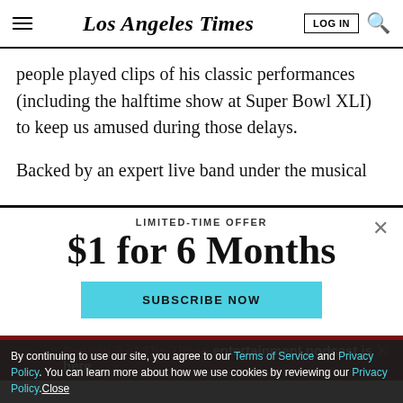Los Angeles Times
people played clips of his classic performances (including the halftime show at Super Bowl XLI) to keep us amused during those delays.
Backed by an expert live band under the musical
LIMITED-TIME OFFER
$1 for 6 Months
SUBSCRIBE NOW
Season 3 of The Times entertainment podcast is here
By continuing to use our site, you agree to our Terms of Service and Privacy Policy. You can learn more about how we use cookies by reviewing our Privacy Policy. Close